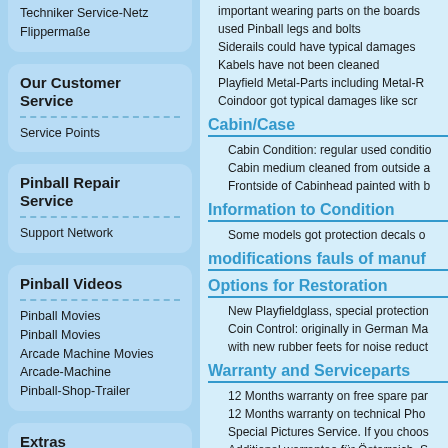important wearing parts on the boards
used Pinball legs and bolts
Siderails could have typical damages
Kabels have not been cleaned
Playfield Metal-Parts including Metal-R
Coindoor got typical damages like scr
Our Customer Service
Service Points
Pinball Repair Service
Support Network
Pinball Videos
Pinball Movies
Pinball Movies
Arcade Machine Movies
Arcade-Machine
Pinball-Shop-Trailer
Extras
About Us & Pinballs
Pinball History
Pinballs A.D.
Pinball instructions
Cabin/Case
Cabin Condition: regular used conditio
Cabin medium cleaned from outside a
Frontside of Cabinhead painted with b
Information to Condition
Some models got protection decals o
modifications fauls of manuf
Options for Restoration
New Playfieldglass, special protection
Coin Control: originally in German Ma
with new rubber feets for noise reduct
Warranty and Serviceparts
12 Months warranty on free spare par
12 Months warranty on technical Pho
Special Pictures Service. If you choos
Additional warrantee for Österreich, S
Contains Gaming instructions paperw
Contains a Service package with bulb